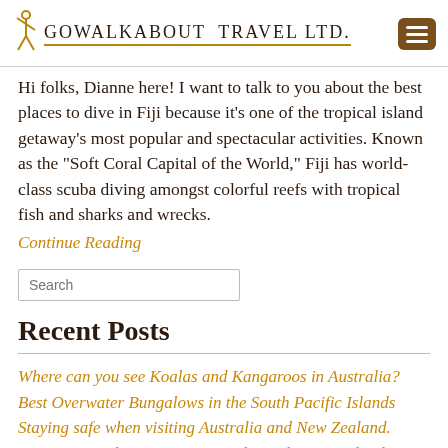Gowalkabout Travel Ltd.
Hi folks, Dianne here! I want to talk to you about the best places to dive in Fiji because it’s one of the tropical island getaway’s most popular and spectacular activities. Known as the “Soft Coral Capital of the World,” Fiji has world-class scuba diving amongst colorful reefs with tropical fish and sharks and wrecks.
Continue Reading
Search
Recent Posts
Where can you see Koalas and Kangaroos in Australia?
Best Overwater Bungalows in the South Pacific Islands
Staying safe when visiting Australia and New Zealand.
Save money when visiting Australia and New Zealand